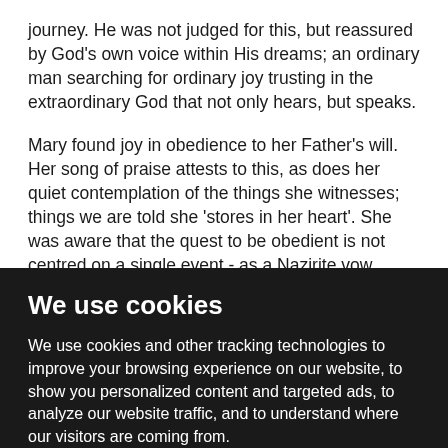journey.  He was not judged for this, but reassured by God's own voice within His dreams; an ordinary man searching for ordinary joy trusting in the extraordinary God that not only hears, but speaks.
Mary found joy in obedience to her Father's will.  Her song of praise attests to this, as does her quiet contemplation of the things she witnesses; things we are told she 'stores in her heart'.  She was aware that the quest to be obedient is not centred on a single event  - as a Nazirite vow would be - but is rather a lifelong journey of faith and determination; the recurring decision
We use cookies
We use cookies and other tracking technologies to improve your browsing experience on our website, to show you personalized content and targeted ads, to analyze our website traffic, and to understand where our visitors are coming from.